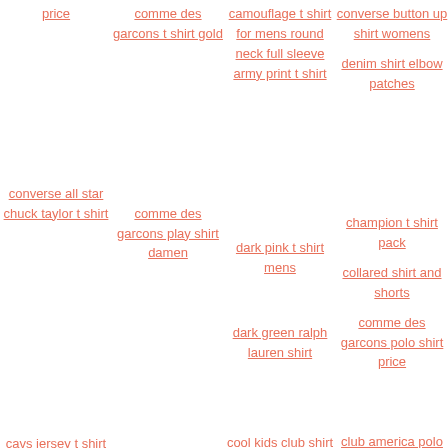price
comme des garcons t shirt gold
camouflage t shirt for mens round neck full sleeve army print t shirt
converse button up shirt womens denim shirt elbow patches
converse all star chuck taylor t shirt
comme des garcons play shirt damen
dark pink t shirt mens dark green ralph lauren shirt
champion t shirt pack collared shirt and shorts comme des garcons polo shirt price
cavs jersey t shirt
captain america t shirt target
cool kids club shirt champion t shirt target
club america polo shirt champion t shirt khaki